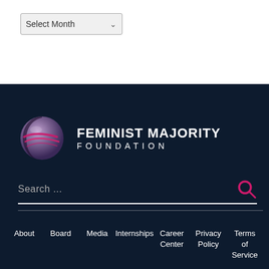Select Month
[Figure (logo): Feminist Majority Foundation globe logo with pink swoosh lines on a purple/grey sphere, next to the text FEMINIST MAJORITY FOUNDATION]
Search ...
About  Board  Media  Internships  Career Center  Privacy Policy  Terms of Service